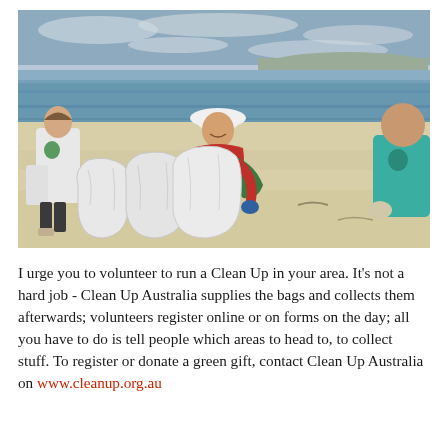[Figure (photo): Volunteers on a beach collecting rubbish into large white bags. A person in a red shirt and white hat is smiling and bending over the bags. A woman in a white t-shirt is on the left. A person in a teal shirt is visible on the right. Sandy beach with calm ocean and partly cloudy sky in background.]
I urge you to volunteer to run a Clean Up in your area. It's not a hard job - Clean Up Australia supplies the bags and collects them afterwards; volunteers register online or on forms on the day; all you have to do is tell people which areas to head to, to collect stuff. To register or donate a green gift, contact Clean Up Australia on www.cleanup.org.au